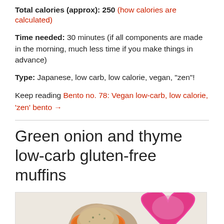Total calories (approx): 250 (how calories are calculated)
Time needed: 30 minutes (if all components are made in the morning, much less time if you make things in advance)
Type: Japanese, low carb, low calorie, vegan, "zen"!
Keep reading Bento no. 78: Vegan low-carb, low calorie, 'zen' bento →
Green onion and thyme low-carb gluten-free muffins
[Figure (photo): Photo of gluten-free muffins in heart-shaped silicone molds: orange mold holding a baked muffin in the center, pink/magenta mold to the right, on a light surface.]